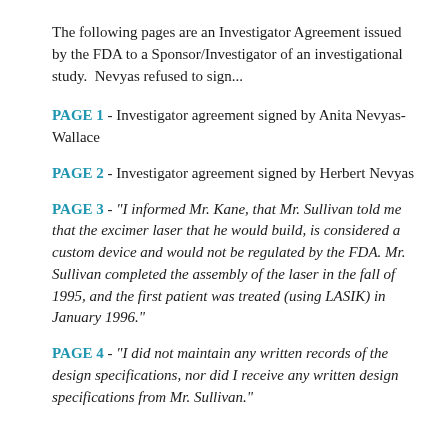The following pages are an Investigator Agreement issued by the FDA to a Sponsor/Investigator of an investigational study.  Nevyas refused to sign...
PAGE 1 - Investigator agreement signed by Anita Nevyas-Wallace
PAGE 2 - Investigator agreement signed by Herbert Nevyas
PAGE 3 - "I informed Mr. Kane, that Mr. Sullivan told me that the excimer laser that he would build, is considered a custom device and would not be regulated by the FDA. Mr. Sullivan completed the assembly of the laser in the fall of 1995, and the first patient was treated (using LASIK) in January 1996."
PAGE 4 - "I did not maintain any written records of the design specifications, nor did I receive any written design specifications from Mr. Sullivan."